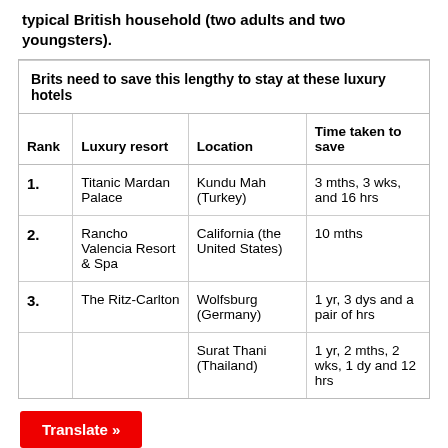typical British household (two adults and two youngsters).
| Rank | Luxury resort | Location | Time taken to save |
| --- | --- | --- | --- |
| 1. | Titanic Mardan Palace | Kundu Mah (Turkey) | 3 mths, 3 wks, and 16 hrs |
| 2. | Rancho Valencia Resort & Spa | California (the United States) | 10 mths |
| 3. | The Ritz-Carlton | Wolfsburg (Germany) | 1 yr, 3 dys and a pair of hrs |
|  |  | Surat Thani (Thailand) | 1 yr, 2 mths, 2 wks, 1 dy and 12 hrs |
Translate »